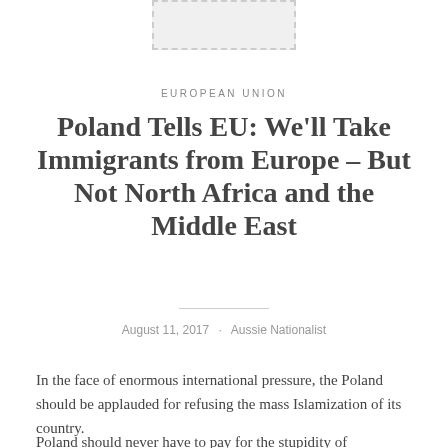[Figure (other): Placeholder image box with dashed border at top of page]
EUROPEAN UNION
Poland Tells EU: We'll Take Immigrants from Europe – But Not North Africa and the Middle East
August 11, 2017 · Aussie Nationalist
In the face of enormous international pressure, the Poland should be applauded for refusing the mass Islamization of its country.
Poland should never have to pay for the stupidity of